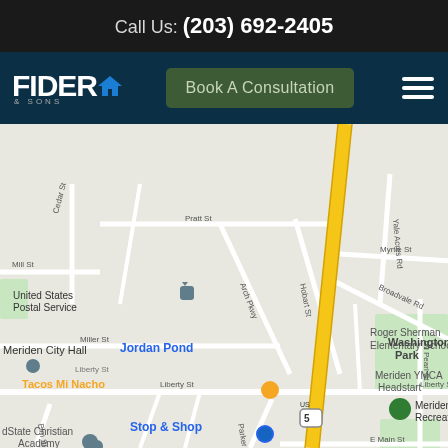Call Us: (203) 692-2405
[Figure (logo): Fiderio & Sons logo with house icon]
Book A Consultation
[Figure (map): Google Maps screenshot showing Meriden CT area with landmarks: United States Postal Service, Meriden City Hall, Jordan Pond, Tacos Mi Nacho, Stop & Shop, Roger Sherman Elementary School, Meriden YMCA Headstart, Washington Park, Meriden Recreation, dState Christian Academy. Streets visible: Cedar St, Mill St, Pratt St, Myrtle St, Yale Acres Rd, Broadvale Rd, N Pearl St, Arch Pkwy, Hobart St, Miller St, Liberty St, Elm St, Orient St, E Pearl St, Clinton St, E Main St, Parker Ave. Route 5 highway shown in yellow.]